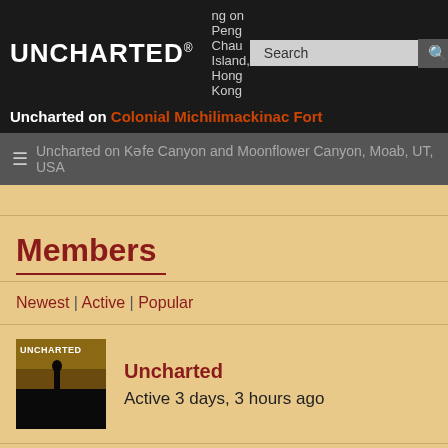UNCHARTED® | Hiking on Peng Chau Island, Hong Kong
Uncharted on Colonial Michilimackinac Fort
Uncharted on Knife Canyon and Moonflower Canyon, Moab, UT, USA
Members
Newest | Active | Popular
Uncharted
Active 3 days, 3 hours ago
Alan
Active 2 weeks, 2 days ago